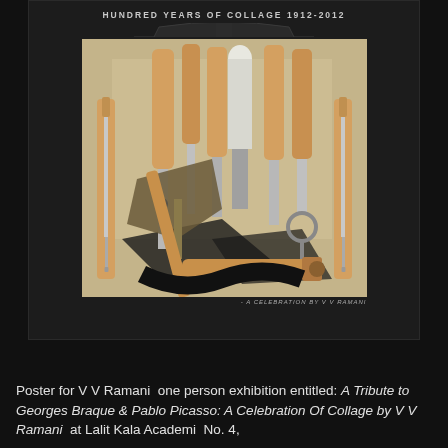[Figure (photo): A framed exhibition poster titled 'HUNDRED YEARS OF COLLAGE 1912-2012' featuring a collage artwork of various woodworking and craft tools with wooden handles arranged on a beige background, with the subtitle 'A CELEBRATION BY V V RAMANI' at the bottom.]
Poster for V V Ramani  one person exhibition entitled: A Tribute to Georges Braque & Pablo Picasso: A Celebration Of Collage by V V Ramani  at Lalit Kala Academi  No. 4,